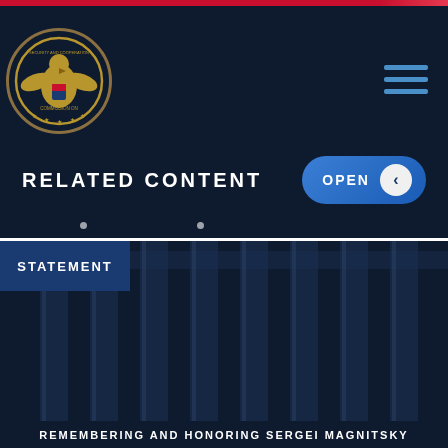[Figure (logo): Commission on Security and Cooperation in Europe circular seal with eagle emblem in gold on dark navy background]
RELATED CONTENT
STATEMENT
[Figure (photo): Dark overlay of US Capitol or government building columns/pillars in navy blue tones]
REMEMBERING AND HONORING SERGEI MAGNITSKY